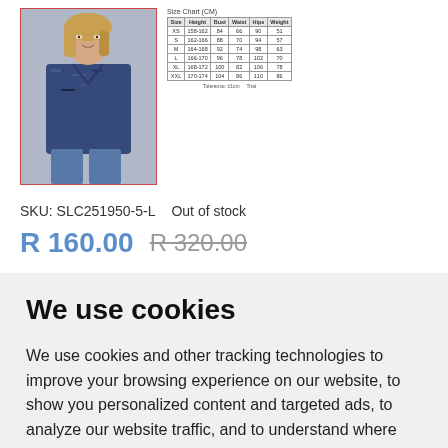[Figure (photo): Two cropped product photos showing tops/shirts worn by model, photographed from chest down, showing denim jeans]
[Figure (photo): Thumbnail product photo of woman wearing a blue/navy space-dye v-neck short sleeve top with jeans, bordered in red]
| Size | Height | Bust | Waist | Hips | Weight |
| --- | --- | --- | --- | --- | --- |
| XS | 158-162 | 84 | 66 | 90 | 51 |
| S | 162-166 | 88 | 70 | 94 | 57 |
| M | 164-168 | 92 | 74 | 98 | 63 |
| L | 166-170 | 96 | 78 | 102 | 70 |
| XL | 168-172 | 100 | 82 | 106 | 78 |
| XXL | 170-174 | 104 | 86 | 110 | 86 |
SKU: SLC251950-5-L    Out of stock
R 160.00  R 320.00
We use cookies
We use cookies and other tracking technologies to improve your browsing experience on our website, to show you personalized content and targeted ads, to analyze our website traffic, and to understand where our visitors are coming from